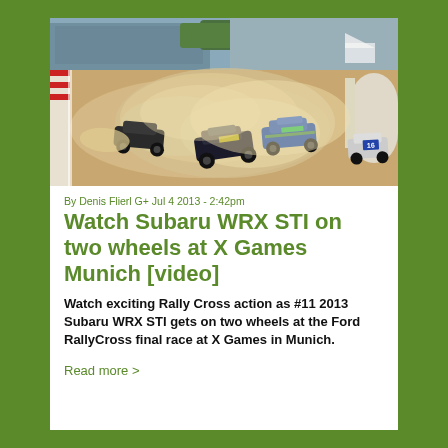[Figure (photo): Rally cross race scene with multiple cars on a dirt track kicking up dust, with spectators in the grandstands and infrastructure visible in the background. Taken at X Games Munich 2013.]
By Denis Flierl G+ Jul 4 2013 - 2:42pm
Watch Subaru WRX STI on two wheels at X Games Munich [video]
Watch exciting Rally Cross action as #11 2013 Subaru WRX STI gets on two wheels at the Ford RallyCross final race at X Games in Munich.
Read more >